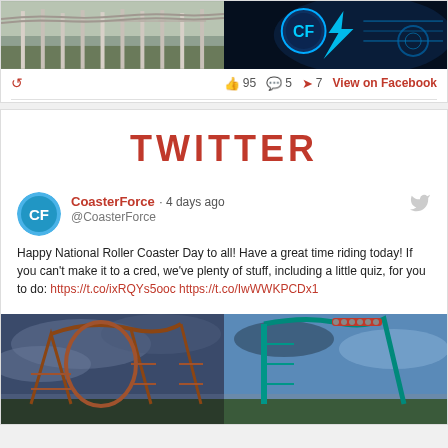[Figure (photo): Two side-by-side images: left shows roller coaster track structure, right shows a dark blue digital/neon graphic with CF logo]
95  5  7  View on Facebook
TWITTER
CoasterForce · 4 days ago
@CoasterForce
Happy National Roller Coaster Day to all! Have a great time riding today! If you can't make it to a cred, we've plenty of stuff, including a little quiz, for you to do: https://t.co/ixRQYs5ooc https://t.co/IwWWKPCDx1
[Figure (photo): Two side-by-side roller coaster photos: left shows wooden coaster with loops against cloudy sky, right shows green steel coaster against blue sky]